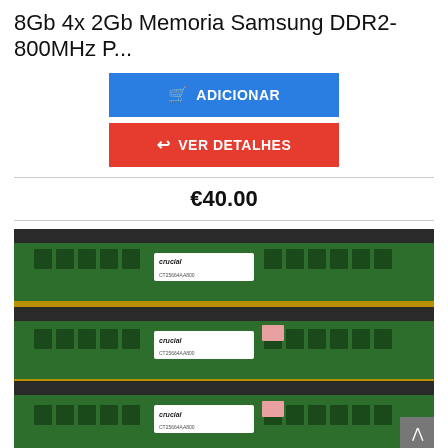8Gb 4x 2Gb Memoria Samsung DDR2-800MHz P...
ADICIONAR
VER DETALHES
€40.00
[Figure (photo): Photo of multiple Crucial 2GB DDR2-800MHz RAM memory sticks stacked in black plastic trays, showing green PCB with gold contacts.]